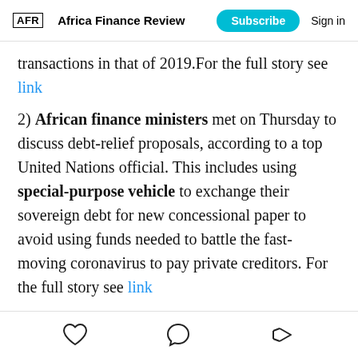AFR  Africa Finance Review  Subscribe  Sign in
transactions in that of 2019.For the full story see link
2) African finance ministers met on Thursday to discuss debt-relief proposals, according to a top United Nations official. This includes using special-purpose vehicle to exchange their sovereign debt for new concessional paper to avoid using funds needed to battle the fast-moving coronavirus to pay private creditors. For the full story see link
3) Four South African renewable energy companies given a green light. The guarantees—in support of the construction, ownership and operation of two solar
❤ (like) | (comment) | (share)